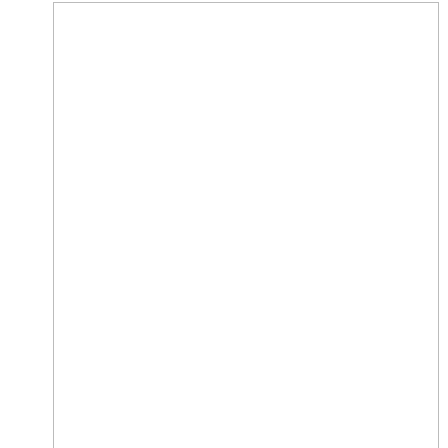[Figure (other): Large empty white advertisement space (Ezoic ad unit placeholder) with border]
ezoic   report this ad
67 ESL
CONVERSATION TOPICS
WITH QUESTIONS, VOCABULARY,
WRITING PROMPTS & MORE
For Teenagers and Adults
[Figure (other): Mattress Firm advertisement banner: checkmarks for In-store pickup and Delivery, Mattress Firm logo with play button, blue navigation arrow icon, close button, text: Get 0% Interest For 72 months, X close button]